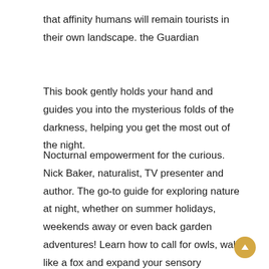that affinity humans will remain tourists in their own landscape. the Guardian
This book gently holds your hand and guides you into the mysterious folds of the darkness, helping you get the most out of the night.
Nocturnal empowerment for the curious. Nick Baker, naturalist, TV presenter and author. The go-to guide for exploring nature at night, whether on summer holidays, weekends away or even back garden adventures! Learn how to call for owls, walk like a fox and expand your sensory perceptions. Wild Nights Out is a wonderful new hands-on guide for those who wish to take kids (of all ages) outdoors for fun, thrilling nighttime nature adventures.